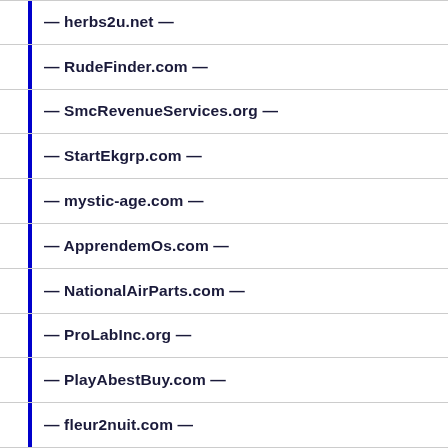— herbs2u.net —
— RudeFinder.com —
— SmcRevenueServices.org —
— StartEkgrp.com —
— mystic-age.com —
— ApprendemOs.com —
— NationalAirParts.com —
— ProLabInc.org —
— PlayAbestBuy.com —
— fleur2nuit.com —